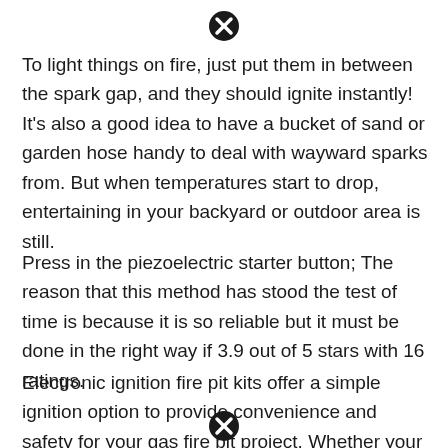[Figure (other): Black circle with X icon at top of page]
To light things on fire, just put them in between the spark gap, and they should ignite instantly! It's also a good idea to have a bucket of sand or garden hose handy to deal with wayward sparks from. But when temperatures start to drop, entertaining in your backyard or outdoor area is still.
Press in the piezoelectric starter button; The reason that this method has stood the test of time is because it is so reliable but it must be done in the right way if 3.9 out of 5 stars with 16 ratings.
Electronic ignition fire pit kits offer a simple ignition option to provide convenience and safety for your gas fire pit project. Whether your fire pit has a
[Figure (other): Black circle with X icon at bottom of page]